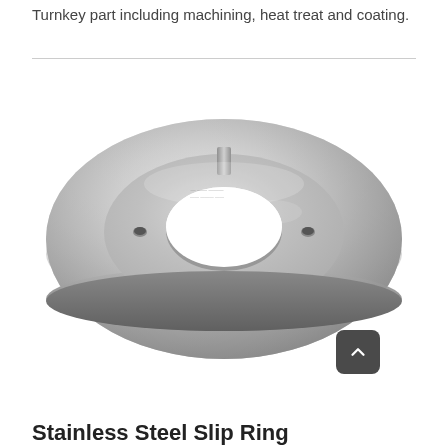Turnkey part including machining, heat treat and coating.
[Figure (photo): Stainless steel slip ring or disc-shaped machined metal component with a central circular hole and two small bolt holes, photographed on a white background. The part has a polished silver metallic finish with engraved text near the center top.]
Stainless Steel Slip Ring